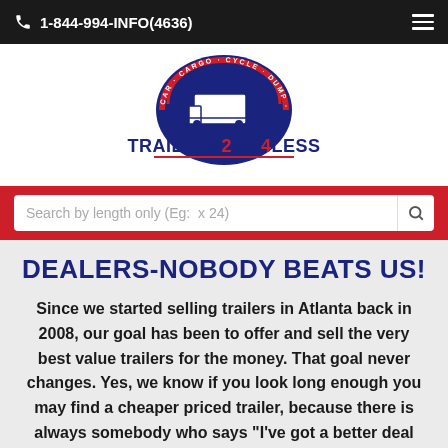1-844-994-INFO(4636)
[Figure (logo): Trailers2Go4Less logo with circular emblem showing trailer types (Car, Cargo, Cycle, Dump, Equip, Flatbed, Tilt, Utility) and text TRAILERS2GO4LESS in navy and red]
Search by length only (Eg:  x 24)
DEALERS-NOBODY BEATS US!
Since we started selling trailers in Atlanta back in 2008, our goal has been to offer and sell the very best value trailers for the money. That goal never changes. Yes, we know if you look long enough you may find a cheaper priced trailer, because there is always somebody who says "I've got a better deal for you" but do they really? We work hard to be easy to work w...